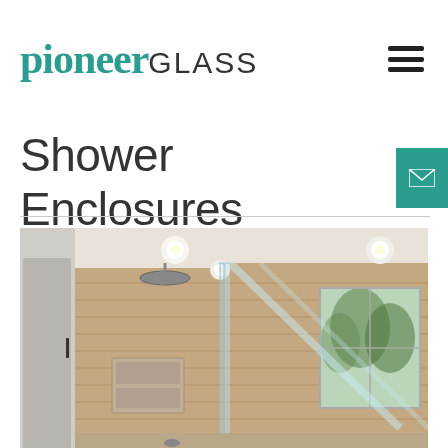pioneerGLASS
Shower Enclosures
[Figure (logo): Pioneer Glass company logo with 'pioneer' in teal serif font and 'GLASS' in dark sans-serif uppercase]
[Figure (photo): Interior photo of a modern glass shower enclosure with frameless glass panels, wood-look tile walls, recessed lighting in ceiling, rain showerhead, built-in niche shelves, and a window visible on the right side]